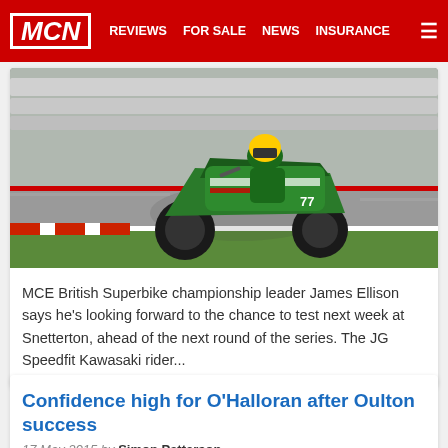MCN | REVIEWS | FOR SALE | NEWS | INSURANCE
[Figure (photo): A motorcycle racer on a green and white Kawasaki racing bike leaning into a corner on a racing circuit, with blurred background suggesting high speed. Number 77 on the bike.]
MCE British Superbike championship leader James Ellison says he's looking forward to the chance to test next week at Snetterton, ahead of the next round of the series. The JG Speedfit Kawasaki rider...
Confidence high for O'Halloran after Oulton success
17 May 2015 by Simon Patterson